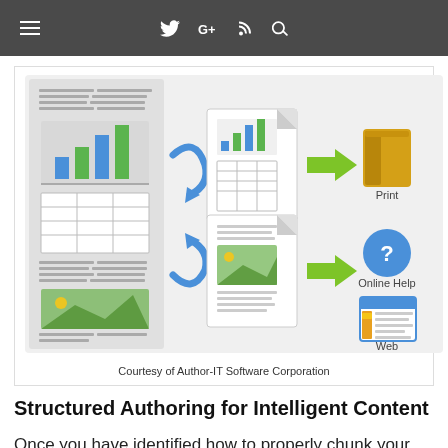≡  🐦  G+  ⊕  🔍
[Figure (infographic): Diagram showing structured content authoring workflow: a source document panel on the left (with chart, table, text blocks, image) feeds via blue curved arrows into two document outputs (one with chart and table, one with image), which feed via green arrows to three outputs: Print (yellow book icon), Online Help (blue question mark icon), and Web (browser window icon). Courtesy of Author-IT Software Corporation.]
Courtesy of Author-IT Software Corporation
Structured Authoring for Intelligent Content
Once you have identified how to properly chunk your content, you need to structure